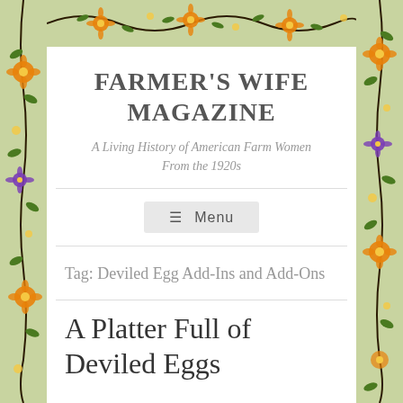FARMER'S WIFE MAGAZINE
A Living History of American Farm Women From the 1920s
Menu
Tag: Deviled Egg Add-Ins and Add-Ons
A Platter Full of Deviled Eggs